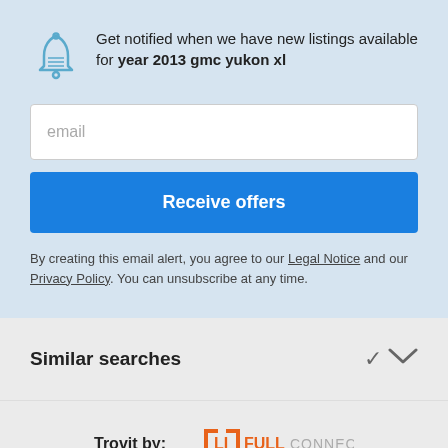Get notified when we have new listings available for year 2013 gmc yukon xl
[Figure (illustration): Blue bell notification icon]
email
Receive offers
By creating this email alert, you agree to our Legal Notice and our Privacy Policy. You can unsubscribe at any time.
Similar searches
[Figure (logo): Trovit by LIFULL CONNECT logo]
Help · Privacy policy · Cookie Policy · Legal Notice